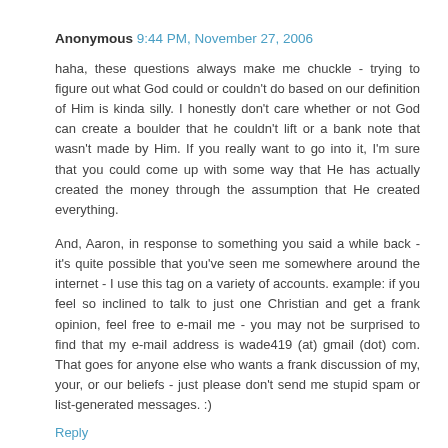Anonymous 9:44 PM, November 27, 2006
haha, these questions always make me chuckle - trying to figure out what God could or couldn't do based on our definition of Him is kinda silly. I honestly don't care whether or not God can create a boulder that he couldn't lift or a bank note that wasn't made by Him. If you really want to go into it, I'm sure that you could come up with some way that He has actually created the money through the assumption that He created everything.
And, Aaron, in response to something you said a while back - it's quite possible that you've seen me somewhere around the internet - I use this tag on a variety of accounts. example: if you feel so inclined to talk to just one Christian and get a frank opinion, feel free to e-mail me - you may not be surprised to find that my e-mail address is wade419 (at) gmail (dot) com. That goes for anyone else who wants a frank discussion of my, your, or our beliefs - just please don't send me stupid spam or list-generated messages. :)
Reply